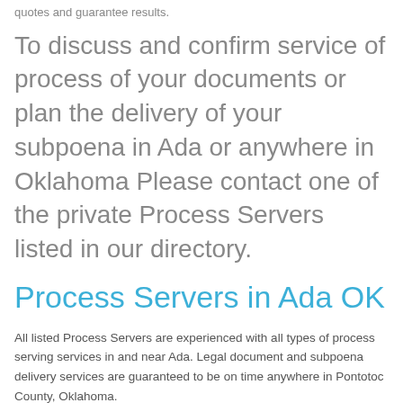quotes and guarantee results.
To discuss and confirm service of process of your documents or plan the delivery of your subpoena in Ada or anywhere in Oklahoma Please contact one of the private Process Servers listed in our directory.
Process Servers in Ada OK
All listed Process Servers are experienced with all types of process serving services in and near Ada. Legal document and subpoena delivery services are guaranteed to be on time anywhere in Pontotoc County, Oklahoma.
When you are seeking information and a lowest fee quote, we urge you to contact one or all of the Process